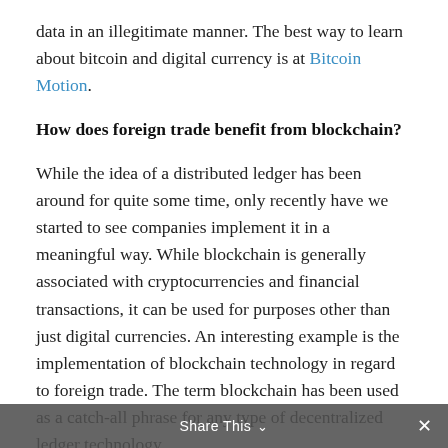data in an illegitimate manner. The best way to learn about bitcoin and digital currency is at Bitcoin Motion.
How does foreign trade benefit from blockchain?
While the idea of a distributed ledger has been around for quite some time, only recently have we started to see companies implement it in a meaningful way. While blockchain is generally associated with cryptocurrencies and financial transactions, it can be used for purposes other than just digital currencies. An interesting example is the implementation of blockchain technology in regard to foreign trade. The term blockchain has been used as a catch-all phrase for any type of decentralized ledger technology.
The most common use is to refer to the ledger that makes up the Bitcoin network, which is a detailed history of all the transactions that have occurred on it. These ledgers are